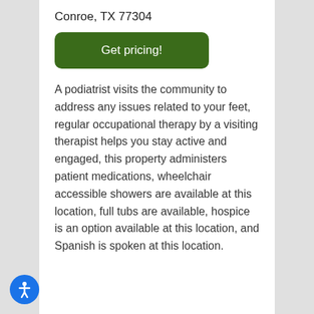Conroe, TX 77304
Get pricing!
A podiatrist visits the community to address any issues related to your feet, regular occupational therapy by a visiting therapist helps you stay active and engaged, this property administers patient medications, wheelchair accessible showers are available at this location, full tubs are available, hospice is an option available at this location, and Spanish is spoken at this location.